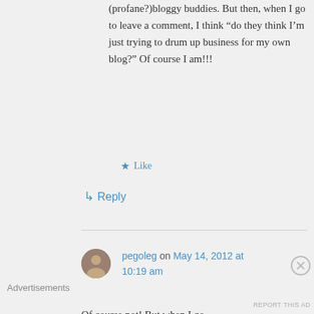(profane?)bloggy buddies. But then, when I go to leave a comment, I think “do they think I’m just trying to drum up business for my own blog?” Of course I am!!!
★ Like
↳ Reply
pegoleg on May 14, 2012 at 10:19 am
Of course not! But when I go
Advertisements